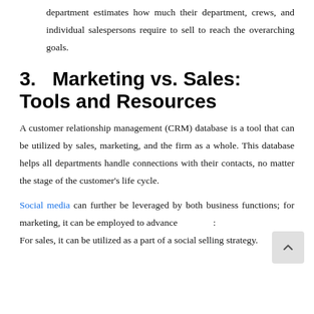department estimates how much their department, crews, and individual salespersons require to sell to reach the overarching goals.
3.   Marketing vs. Sales: Tools and Resources
A customer relationship management (CRM) database is a tool that can be utilized by sales, marketing, and the firm as a whole. This database helps all departments handle connections with their contacts, no matter the stage of the customer's life cycle.
Social media can further be leveraged by both business functions; for marketing, it can be employed to advance [obscured]. For sales, it can be utilized as a part of a social selling strategy.